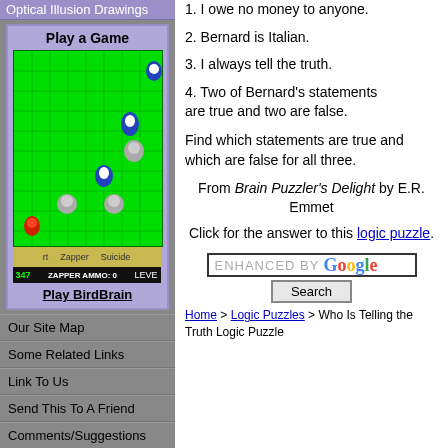Optical Illusion Drawings
Play a Game
[Figure (screenshot): BirdBrain game screenshot showing a green grid game field with bird characters]
Play BirdBrain
1. I owe no money to anyone.
2. Bernard is Italian.
3. I always tell the truth.
4. Two of Bernard's statements are true and two are false.
Find which statements are true and which are false for all three.
From Brain Puzzler's Delight by E.R. Emmet
Click for the answer to this logic puzzle.
Our Site Map
Some Related Links
Link To Us
Send This To A Friend
Comments/Suggestions
Report A Broken Link
[Figure (screenshot): Enhanced by Google search box with Search button]
Home > Logic Puzzles > Who Is Telling the Truth Logic Puzzle